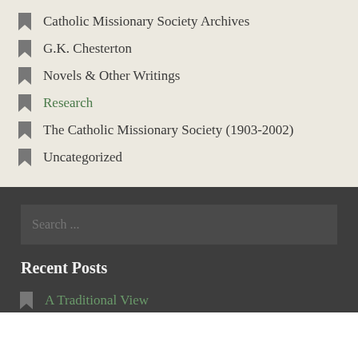Catholic Missionary Society Archives
G.K. Chesterton
Novels & Other Writings
Research
The Catholic Missionary Society (1903-2002)
Uncategorized
Search ...
Recent Posts
A Traditional View